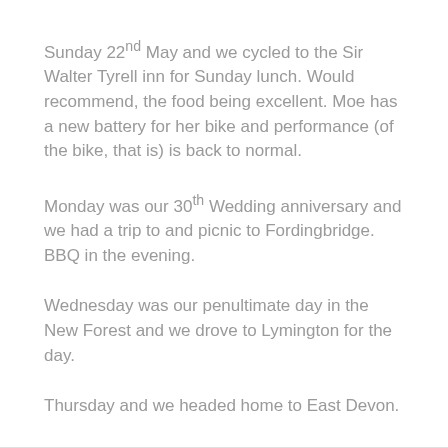Sunday 22nd May and we cycled to the Sir Walter Tyrell inn for Sunday lunch. Would recommend, the food being excellent. Moe has a new battery for her bike and performance (of the bike, that is) is back to normal.
Monday was our 30th Wedding anniversary and we had a trip to and picnic to Fordingbridge. BBQ in the evening.
Wednesday was our penultimate day in the New Forest and we drove to Lymington for the day.
Thursday and we headed home to East Devon.